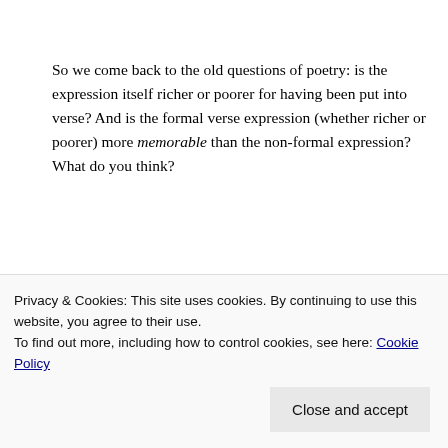So we come back to the old questions of poetry: is the expression itself richer or poorer for having been put into verse? And is the formal verse expression (whether richer or poorer) more memorable than the non-formal expression? What do you think?
I wonder if Snakeskin editor George Simmers has an opinion.
Share this:
Privacy & Cookies: This site uses cookies. By continuing to use this website, you agree to their use.
To find out more, including how to control cookies, see here: Cookie Policy